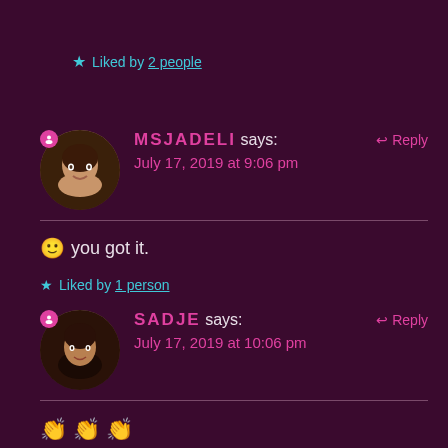★ Liked by 2 people
MSJADELI says: July 17, 2019 at 9:06 pm
↩ Reply
🙂 you got it.
★ Liked by 1 person
SADJE says: July 17, 2019 at 10:06 pm
↩ Reply
👏👏👏